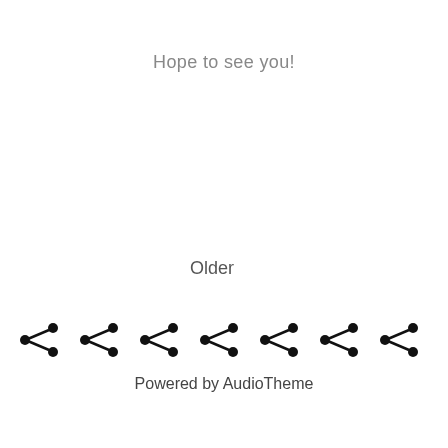Hope to see you!
Older
[Figure (other): Seven share/social icons arranged horizontally]
Powered by AudioTheme